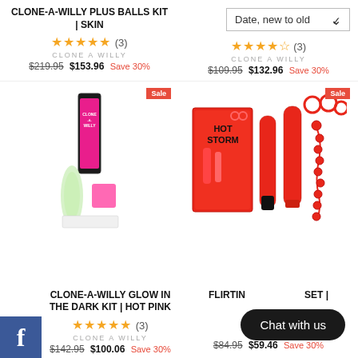CLONE-A-WILLY PLUS BALLS KIT | SKIN
★★★★★ (3) CLONE A WILLY $219.95 $153.96 Save 30%
Date, new to old
★★★★½ (3) CLONE A WILLY $109.95 $132.96 Save 30%
[Figure (photo): Clone-A-Willy glow in the dark kit product packaging in hot pink]
[Figure (photo): HotStorm flirting couples set in red, includes vibrators and accessories]
CLONE-A-WILLY GLOW IN THE DARK KIT | HOT PINK
★★★★★ (3) CLONE A WILLY $142.95 $100.06 Save 30%
FLIRTING COUPLES SET |
AMORE $84.95 $59.46 Save 30%